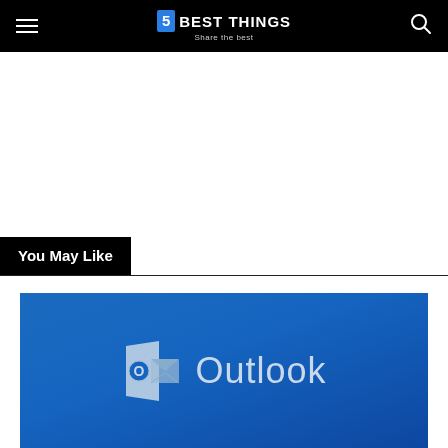5 BEST THINGS — Share the best
You May Like
[Figure (screenshot): Outlook logo on blue gradient background — Microsoft Outlook icon (letter O with envelope) and text 'Outlook' in light blue/white on a blue gradient background.]